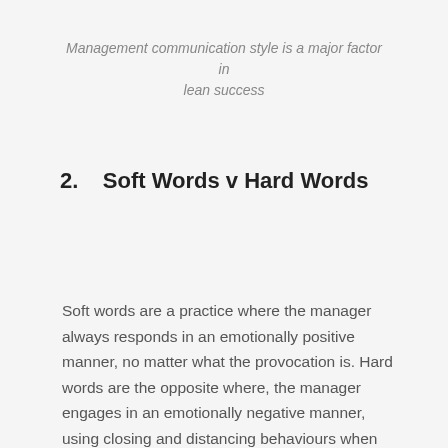Management communication style is a major factor in lean success
2.    Soft Words v Hard Words
Soft words are a practice where the manager always responds in an emotionally positive manner, no matter what the provocation is. Hard words are the opposite where, the manager engages in an emotionally negative manner, using closing and distancing behaviours when interacting with workers…